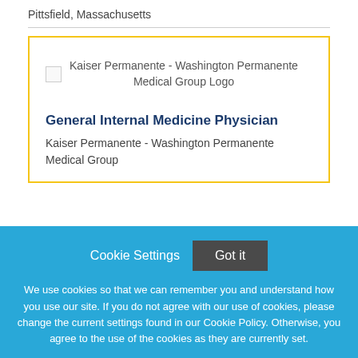Pittsfield, Massachusetts
[Figure (logo): Kaiser Permanente - Washington Permanente Medical Group Logo (broken image)]
General Internal Medicine Physician
Kaiser Permanente - Washington Permanente Medical Group
Cookie Settings   Got it
We use cookies so that we can remember you and understand how you use our site. If you do not agree with our use of cookies, please change the current settings found in our Cookie Policy. Otherwise, you agree to the use of the cookies as they are currently set.